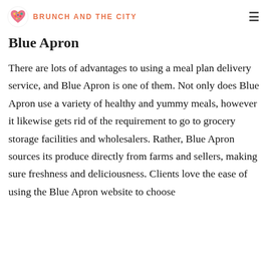BRUNCH AND THE CITY
Blue Apron
There are lots of advantages to using a meal plan delivery service, and Blue Apron is one of them. Not only does Blue Apron use a variety of healthy and yummy meals, however it likewise gets rid of the requirement to go to grocery storage facilities and wholesalers. Rather, Blue Apron sources its produce directly from farms and sellers, making sure freshness and deliciousness. Clients love the ease of using the Blue Apron website to choose